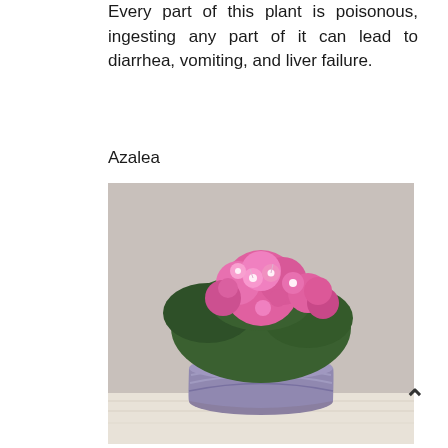Every part of this plant is poisonous, ingesting any part of it can lead to diarrhea, vomiting, and liver failure.
Azalea
[Figure (photo): A potted azalea plant with bright pink flowers in a purple/lavender ribbed ceramic pot, set against a light gray background.]